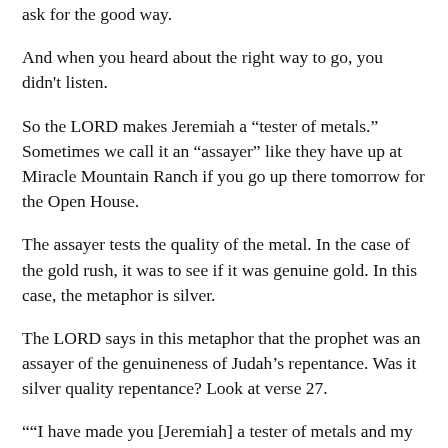ask for the good way.
And when you heard about the right way to go, you didn't listen.
So the LORD makes Jeremiah a “tester of metals.” Sometimes we call it an “assayer” like they have up at Miracle Mountain Ranch if you go up there tomorrow for the Open House.
The assayer tests the quality of the metal. In the case of the gold rush, it was to see if it was genuine gold. In this case, the metaphor is silver.
The LORD says in this metaphor that the prophet was an assayer of the genuineness of Judah’s repentance. Was it silver quality repentance? Look at verse 27.
““I have made you [Jeremiah] a tester of metals and my people the ore, that you may observe and test their ways. [And here’s the report from the assayer’s office:] They are all hardened rebels, going about to slander. They are bronze and iron; they are all corrupt. The bellows blow fiercely